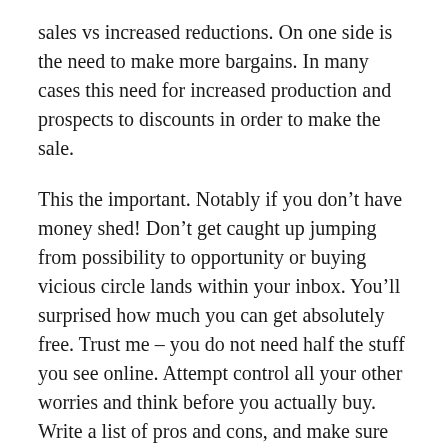sales vs increased reductions. On one side is the need to make more bargains. In many cases this need for increased production and prospects to discounts in order to make the sale.
This the important. Notably if you don’t have money shed! Don’t get caught up jumping from possibility to opportunity or buying vicious circle lands within your inbox. You’ll surprised how much you can get absolutely free. Trust me – you do not need half the stuff you see online. Attempt control all your other worries and think before you actually buy. Write a list of pros and cons, and make sure that the actual merchandise or service is essential you.